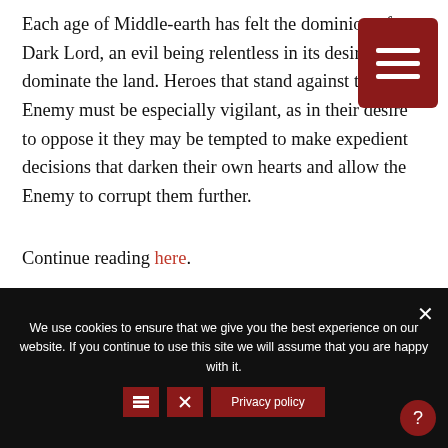Each age of Middle-earth has felt the dominion of a Dark Lord, an evil being relentless in its desire to dominate the land. Heroes that stand against the Enemy must be especially vigilant, as in their desire to oppose it they may be tempted to make expedient decisions that darken their own hearts and allow the Enemy to corrupt them further.
Continue reading here.
[Figure (photo): Dark fantasy scene depicting a Dark Lord figure in dark armor with glowing eyes, surrounded by blue-tinted ethereal flames or spirits against a dark teal background.]
We use cookies to ensure that we give you the best experience on our website. If you continue to use this site we will assume that you are happy with it.